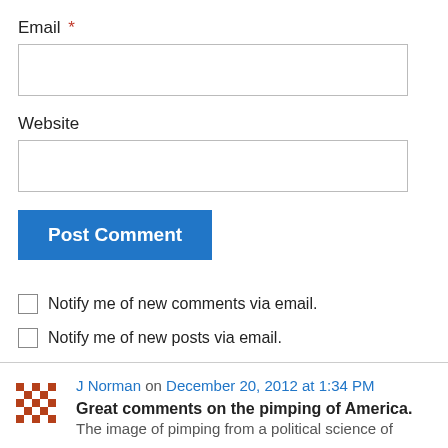Email *
Website
Post Comment
Notify me of new comments via email.
Notify me of new posts via email.
J Norman on December 20, 2012 at 1:34 PM
Great comments on the pimping of America.
The image of pimping from a political science of